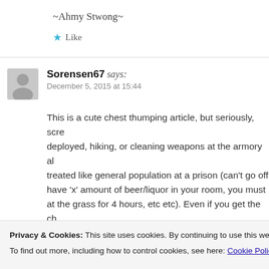~Ahmy Stwong~
★ Like
Sorensen67 says:
December 5, 2015 at 15:44
This is a cute chest thumping article, but seriously, screw being deployed, hiking, or cleaning weapons at the armory all day, and treated like general population at a prison (can't go off base, must have 'x' amount of beer/liquor in your room, you must stare at the grass for 4 hours, etc etc). Even if you get the ch... at... or... ile... p...
your farts even though you're near homeless, not using...
Privacy & Cookies: This site uses cookies. By continuing to use this website, you agree to their use.
To find out more, including how to control cookies, see here: Cookie Policy
Close and accept